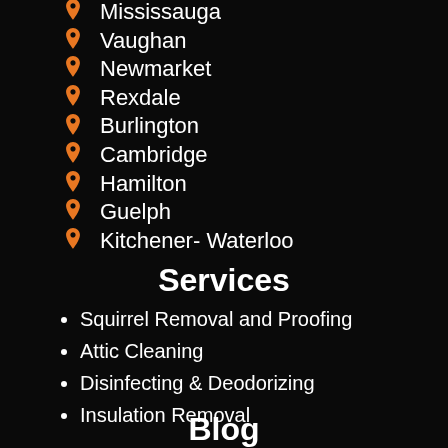Mississauga
Vaughan
Newmarket
Rexdale
Burlington
Cambridge
Hamilton
Guelph
Kitchener- Waterloo
Services
Squirrel Removal and Proofing
Attic Cleaning
Disinfecting & Deodorizing
Insulation Removal
Blog